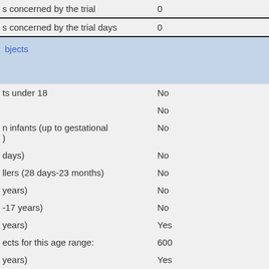| Field | Value |
| --- | --- |
| s concerned by the trial | 0 |
| s concerned by the trial days | 0 |
| bjects |  |
|  |  |
| ts under 18 | No |
|  | No |
| n infants (up to gestational ) |  | No |
| days) | No |
| llers (28 days-23 months) | No |
| years) | No |
| -17 years) | No |
| years) | Yes |
| ects for this age range: | 600 |
| years) | Yes |
| ects for this age range: | 25 |
|  |  |